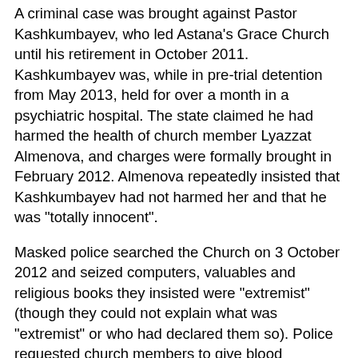A criminal case was brought against Pastor Kashkumbayev, who led Astana's Grace Church until his retirement in October 2011. Kashkumbayev was, while in pre-trial detention from May 2013, held for over a month in a psychiatric hospital. The state claimed he had harmed the health of church member Lyazzat Almenova, and charges were formally brought in February 2012. Almenova repeatedly insisted that Kashkumbayev had not harmed her and that he was "totally innocent".
Masked police searched the Church on 3 October 2012 and seized computers, valuables and religious books they insisted were "extremist" (though they could not explain what was "extremist" or who had declared them so). Police requested church members to give blood specimens to see if the Church uses "hallucinogenic" substances for Communion – local media carried the same allegations. The alleged "hallucinogens" were a commonly drunk local red tea used as a non-alcoholic communion wine. Church members noted that police displayed a curious lack of interest in the allegations they were supposedly investigating.